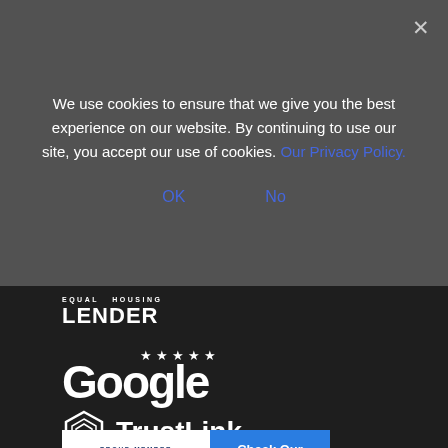We use cookies to ensure that we give you the best experience on our website. By continuing to use our site, you accept our use of cookies. Our Privacy Policy.
OK
No
[Figure (logo): Equal Housing Lender logo with text EQUAL HOUSING LENDER]
[Figure (logo): Google five-star rating logo with stars and Google wordmark in white]
[Figure (logo): TrustLink logo with hexagonal icon and TrustLink text in white]
[Figure (logo): Business Consumer Alliance badge showing Proud Member, Check Our Report, Rating: A]